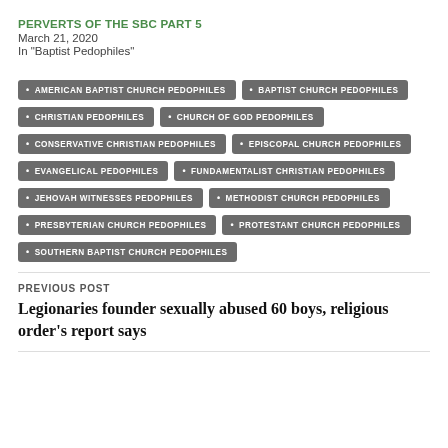PERVERTS OF THE SBC PART 5
March 21, 2020
In "Baptist Pedophiles"
AMERICAN BAPTIST CHURCH PEDOPHILES
BAPTIST CHURCH PEDOPHILES
CHRISTIAN PEDOPHILES
CHURCH OF GOD PEDOPHILES
CONSERVATIVE CHRISTIAN PEDOPHILES
EPISCOPAL CHURCH PEDOPHILES
EVANGELICAL PEDOPHILES
FUNDAMENTALIST CHRISTIAN PEDOPHILES
JEHOVAH WITNESSES PEDOPHILES
METHODIST CHURCH PEDOPHILES
PRESBYTERIAN CHURCH PEDOPHILES
PROTESTANT CHURCH PEDOPHILES
SOUTHERN BAPTIST CHURCH PEDOPHILES
PREVIOUS POST
Legionaries founder sexually abused 60 boys, religious order's report says